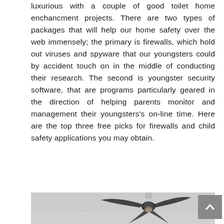luxurious with a couple of good toilet home enchancment projects. There are two types of packages that will help our home safety over the web immensely; the primary is firewalls, which hold out viruses and spyware that our youngsters could by accident touch on in the middle of conducting their research. The second is youngster security software, that are programs particularly geared in the direction of helping parents monitor and management their youngsters's on-line time. Here are the top three free picks for firewalls and child safety applications you may obtain.
[Figure (photo): Photo of a ceiling fan mounted on a white ceiling, viewed from below. The fan has dark blades and a light kit.]